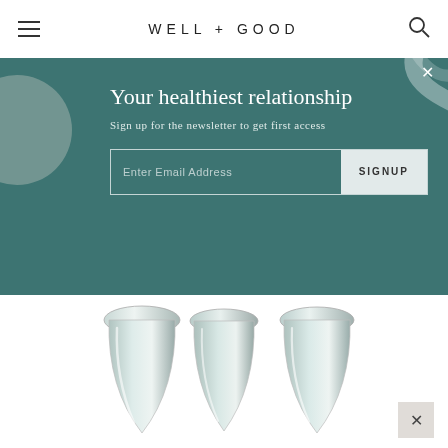WELL+GOOD
Your healthiest relationship
Sign up for the newsletter to get first access
[Figure (screenshot): Email signup form with placeholder text 'Enter Email Address' and a SIGNUP button]
[Figure (photo): Three clear glass plug-shaped objects arranged side by side on a white background]